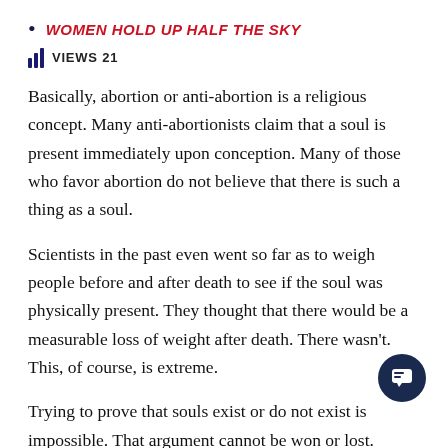WOMEN HOLD UP HALF THE SKY
VIEWS 21
Basically, abortion or anti-abortion is a religious concept. Many anti-abortionists claim that a soul is present immediately upon conception. Many of those who favor abortion do not believe that there is such a thing as a soul.
Scientists in the past even went so far as to weigh people before and after death to see if the soul was physically present. They thought that there would be a measurable loss of weight after death. There wasn't. This, of course, is extreme.
Trying to prove that souls exist or do not exist is impossible. That argument cannot be won or lost. Therefore...